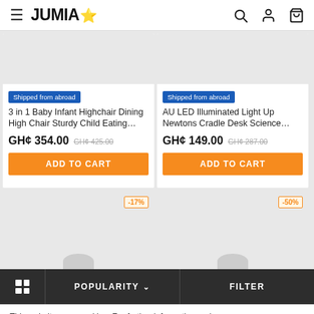JUMIA
[Figure (screenshot): Product card: 3 in 1 Baby Infant Highchair Dining High Chair Sturdy Child Eating... GH¢ 354.00, original GH¢ 425.00, Shipped from abroad badge, ADD TO CART button]
[Figure (screenshot): Product card: AU LED Illuminated Light Up Newtons Cradle Desk Science... GH¢ 149.00, original GH¢ 287.00, Shipped from abroad badge, ADD TO CART button]
[Figure (screenshot): Partial product card with -17% discount badge]
[Figure (screenshot): Partial product card with -50% discount badge]
This website uses cookies. For further information on how we use cookies you can read our Privacy and Cookie notice